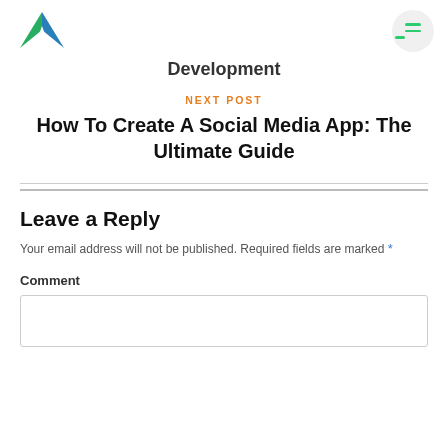AC logo and menu button
Development
NEXT POST
How To Create A Social Media App: The Ultimate Guide
Leave a Reply
Your email address will not be published. Required fields are marked *
Comment